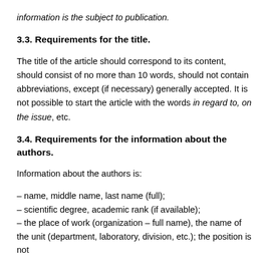information is the subject to publication.
3.3. Requirements for the title.
The title of the article should correspond to its content, should consist of no more than 10 words, should not contain abbreviations, except (if necessary) generally accepted. It is not possible to start the article with the words in regard to, on the issue, etc.
3.4. Requirements for the information about the authors.
Information about the authors is:
– name, middle name, last name (full);
– scientific degree, academic rank (if available);
– the place of work (organization – full name), the name of the unit (department, laboratory, division, etc.); the position is not